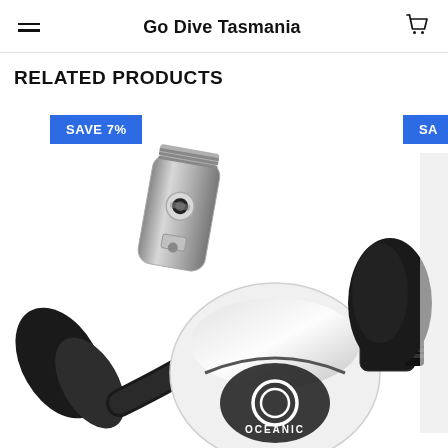Go Dive Tasmania
RELATED PRODUCTS
[Figure (photo): Oceanic scuba diving regulator set in chrome/silver and black, showing first stage and second stage components. A blue badge reading 'SAVE 7%' appears in top-left area. A partially visible second product with 'SA' badge appears on the right edge.]